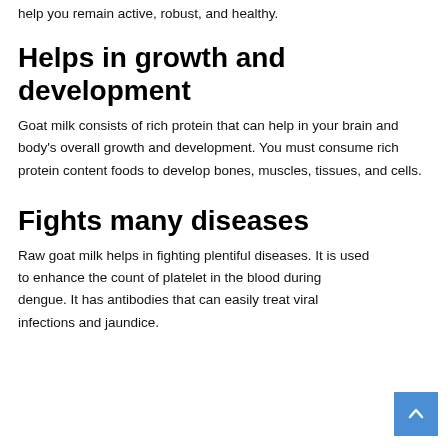help you remain active, robust, and healthy.
Helps in growth and development
Goat milk consists of rich protein that can help in your brain and body's overall growth and development. You must consume rich protein content foods to develop bones, muscles, tissues, and cells.
Fights many diseases
Raw goat milk helps in fighting plentiful diseases. It is used to enhance the count of platelet in the blood during dengue. It has antibodies that can easily treat viral infections and jaundice.